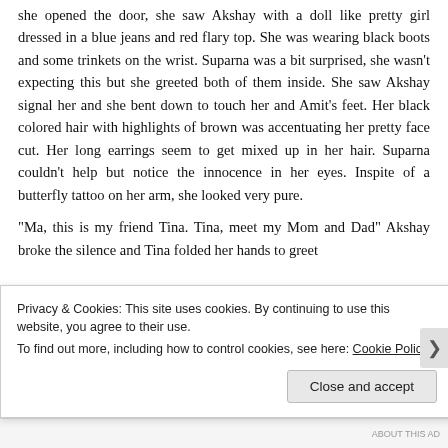she opened the door, she saw Akshay with a doll like pretty girl dressed in a blue jeans and red flary top. She was wearing black boots and some trinkets on the wrist. Suparna was a bit surprised, she wasn't expecting this but she greeted both of them inside. She saw Akshay signal her and she bent down to touch her and Amit's feet. Her black colored hair with highlights of brown was accentuating her pretty face cut. Her long earrings seem to get mixed up in her hair. Suparna couldn't help but notice the innocence in her eyes. Inspite of a butterfly tattoo on her arm, she looked very pure.
“Ma, this is my friend Tina. Tina, meet my Mom and Dad” Akshay broke the silence and Tina folded her hands to greet
Privacy & Cookies: This site uses cookies. By continuing to use this website, you agree to their use.
To find out more, including how to control cookies, see here: Cookie Policy
Close and accept